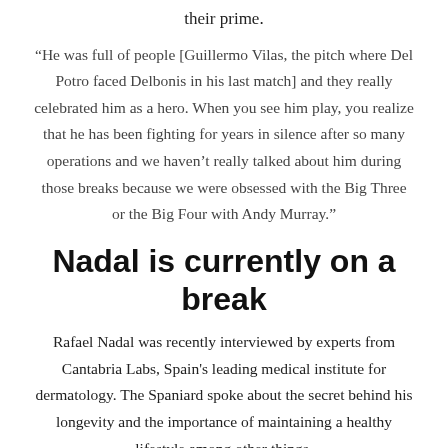their prime.
“He was full of people [Guillermo Vilas, the pitch where Del Potro faced Delbonis in his last match] and they really celebrated him as a hero. When you see him play, you realize that he has been fighting for years in silence after so many operations and we haven’t really talked about him during those breaks because we were obsessed with the Big Three or the Big Four with Andy Murray.”
Nadal is currently on a break
Rafael Nadal was recently interviewed by experts from Cantabria Labs, Spain's leading medical institute for dermatology. The Spaniard spoke about the secret behind his longevity and the importance of maintaining a healthy lifestyle among other things.
“It’s important to have real inner humility, not false humility, to